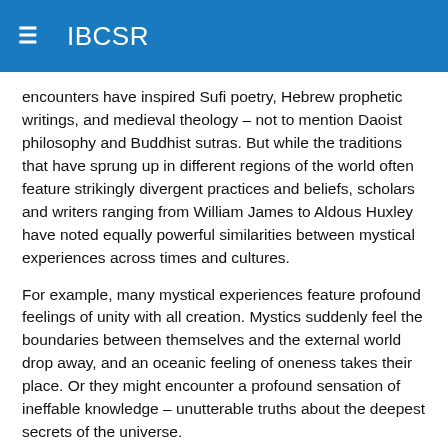IBCSR
encounters have inspired Sufi poetry, Hebrew prophetic writings, and medieval theology – not to mention Daoist philosophy and Buddhist sutras. But while the traditions that have sprung up in different regions of the world often feature strikingly divergent practices and beliefs, scholars and writers ranging from William James to Aldous Huxley have noted equally powerful similarities between mystical experiences across times and cultures.
For example, many mystical experiences feature profound feelings of unity with all creation. Mystics suddenly feel the boundaries between themselves and the external world drop away, and an oceanic feeling of oneness takes their place. Or they might encounter a profound sensation of ineffable knowledge – unutterable truths about the deepest secrets of the universe.
In 1960, a researcher named Walter Stace suggested a stable core of eight basic components to mystical experience. In his view, some combination of the core elements characterized every mystical encounter, regardless of culture. The eight components he identified were ego loss; timelessness/spacelessness; total